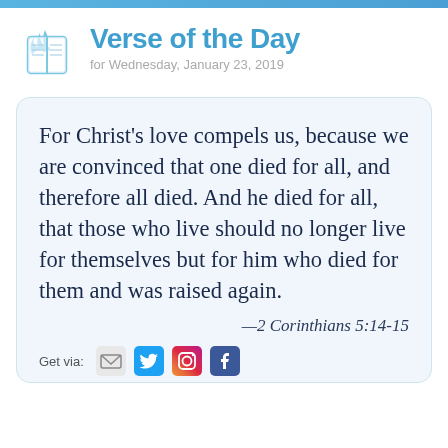Verse of the Day
for Wednesday, January 23, 2019
For Christ's love compels us, because we are convinced that one died for all, and therefore all died. And he died for all, that those who live should no longer live for themselves but for him who died for them and was raised again.
—2 Corinthians 5:14-15
Get via: